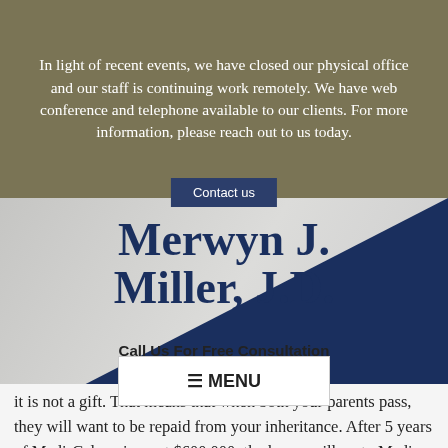In light of recent events, we have closed our physical office and our staff is continuing work remotely. We have web conference and telephone available to our clients. For more information, please reach out to us today.
Contact us
Merwyn J. Miller, J.D.
Call Us For Free Consultation
760-436-8832
☰ MENU
it is not a gift. That means that when both your parents pass, they will want to be repaid from your inheritance. After 5 years of Medi-Cal paying out $600,000, the house will go to Medi-Cal, not to you. I